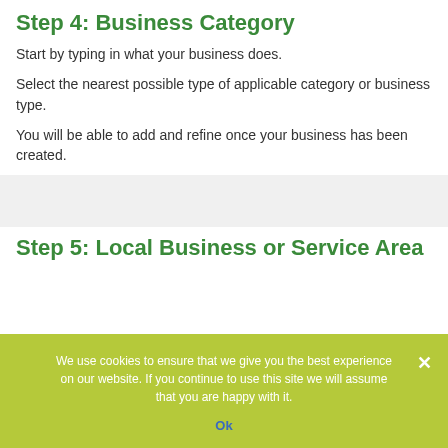Step 4: Business Category
Start by typing in what your business does.
Select the nearest possible type of applicable category or business type.
You will be able to add and refine once your business has been created.
Step 5: Local Business or Service Area
We use cookies to ensure that we give you the best experience on our website. If you continue to use this site we will assume that you are happy with it.
Ok